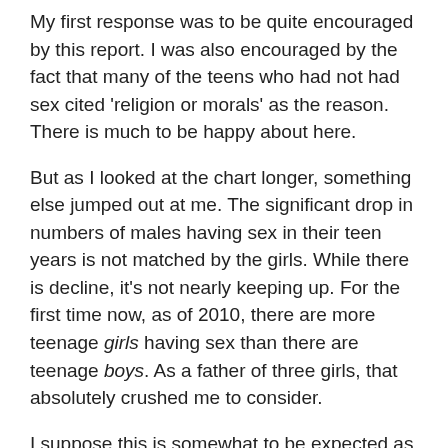My first response was to be quite encouraged by this report. I was also encouraged by the fact that many of the teens who had not had sex cited 'religion or morals' as the reason. There is much to be happy about here.
But as I looked at the chart longer, something else jumped out at me. The significant drop in numbers of males having sex in their teen years is not matched by the girls. While there is decline, it's not nearly keeping up. For the first time now, as of 2010, there are more teenage girls having sex than there are teenage boys. As a father of three girls, that absolutely crushed me to consider.
I suppose this is somewhat to be expected as feminism has become less of a movement and more mainstream culture. After all, movies like Black Swan and Sex and the City seem to be all the rage. As our culture continues to tell our girls that it's good and helpful and healthy to